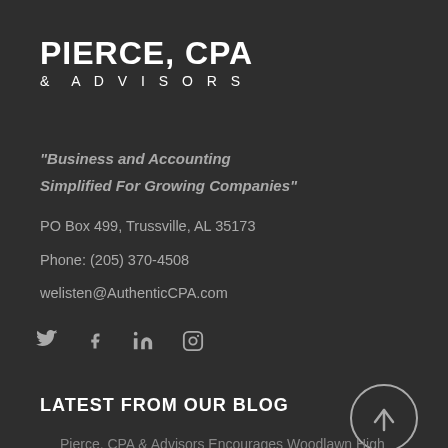PIERCE, CPA & ADVISORS
"Business and Accounting Simplified For Growing Companies"
PO Box 499, Trussville, AL 35173
Phone: (205) 370-4508
welisten@AuthenticCPA.com
[Figure (infographic): Social media icons: Twitter, Facebook, LinkedIn, Instagram]
LATEST FROM OUR BLOG
[Figure (infographic): Circle with upward arrow icon (scroll to top)]
Pierce, CPA & Advisors Encourages Woodlawn High School Future Business Leaders of America